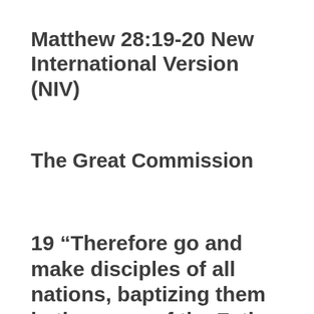Matthew 28:19-20 New International Version (NIV)
The Great Commission
19 “Therefore go and make disciples of all nations, baptizing them in the name of the Father and of the Son and of the Holy